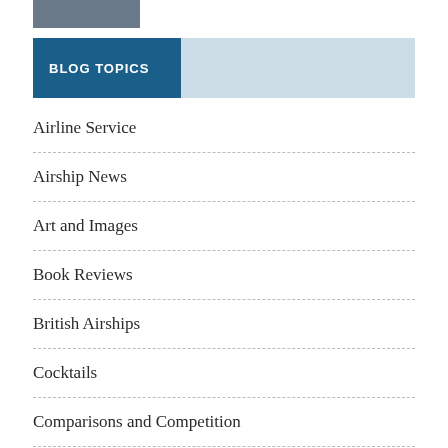[Figure (photo): Partial image at top left, appears to be a photograph cropped at the top edge]
BLOG TOPICS
Airline Service
Airship News
Art and Images
Book Reviews
British Airships
Cocktails
Comparisons and Competition